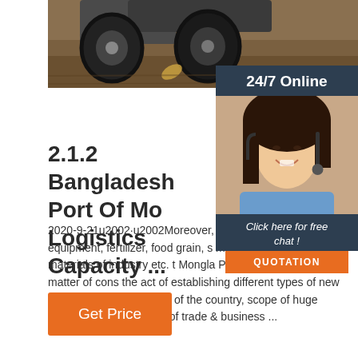[Figure (photo): Top portion of a tractor with large wheels over dirt/soil ground with a leaf visible]
[Figure (illustration): Chat widget with dark navy background, 24/7 Online header, customer service woman with headset, Click here for free chat text, and orange QUOTATION button]
2.1.2 Bangladesh Port Of Mo Logistics Capacity ...
2020-9-21u2002·u2002Moreover, import of heavy machinery & equipment, fertilizer, food grain, s motor vehicles, raw materials of industry etc. through Mongla Port will increase. As a matter of consequence, the act of establishing different types of new industries in the south-western part of the country, scope of huge employment, expansion of trade & business ...
Get Price